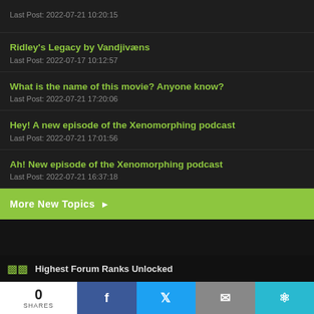Last Post: 2022-07-21 10:20:15
Ridley's Legacy by Vandjivæns
Last Post: 2022-07-17 10:12:57
What is the name of this movie? Anyone know?
Last Post: 2022-07-21 17:20:06
Hey! A new episode of the Xenomorphing podcast
Last Post: 2022-07-21 17:01:56
Ah! New episode of the Xenomorphing podcast
Last Post: 2022-07-21 16:37:18
More New Topics ▶
Highest Forum Ranks Unlocked
0 SHARES